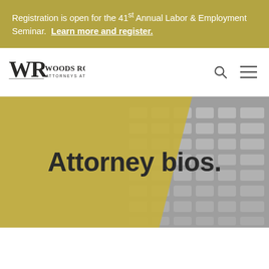Registration is open for the 41st Annual Labor & Employment Seminar. Learn more and register.
[Figure (logo): Woods Rogers Attorneys at Law logo with stylized WR monogram]
Attorney bios.